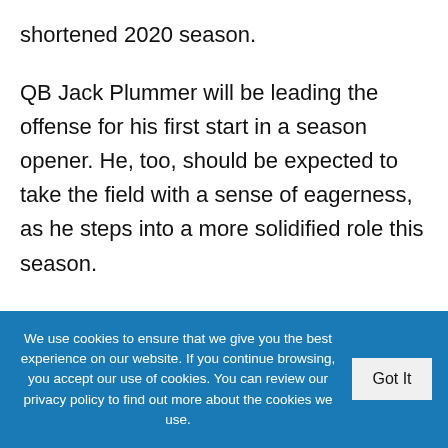shortened 2020 season.
QB Jack Plummer will be leading the offense for his first start in a season opener. He, too, should be expected to take the field with a sense of eagerness, as he steps into a more solidified role this season.
One unfortunate setback for the Boilermakers was on the defensive side of the ball, as just days prior to their opener against Oregon State, fifth-year linebacker Robert McWilliams entered the
We use cookies to ensure that we give you the best experience on our website. If you continue browsing, you accept our use of cookies. You can review our privacy policy to find out more about the cookies we use.